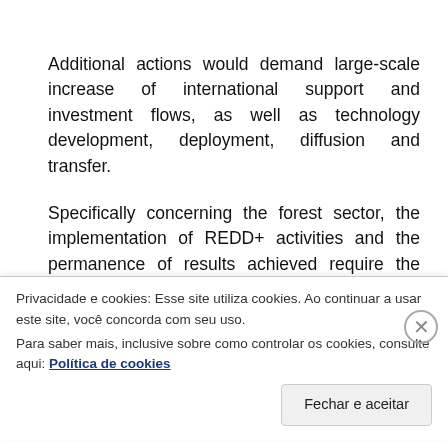Additional actions would demand large-scale increase of international support and investment flows, as well as technology development, deployment, diffusion and transfer.
Specifically concerning the forest sector, the implementation of REDD+ activities and the permanence of results achieved require the provision, on a continuous basis, of adequate and
Privacidade e cookies: Esse site utiliza cookies. Ao continuar a usar este site, você concorda com seu uso.
Para saber mais, inclusive sobre como controlar os cookies, consulte aqui: Política de cookies